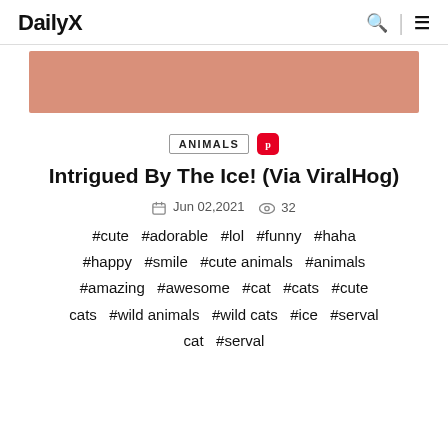DailyX
[Figure (illustration): Salmon/rose colored banner image area]
ANIMALS
Intrigued By The Ice! (Via ViralHog)
Jun 02,2021  32
#cute  #adorable  #lol  #funny  #haha  #happy  #smile  #cute animals  #animals  #amazing  #awesome  #cat  #cats  #cute cats  #wild animals  #wild cats  #ice  #serval cat  #serval